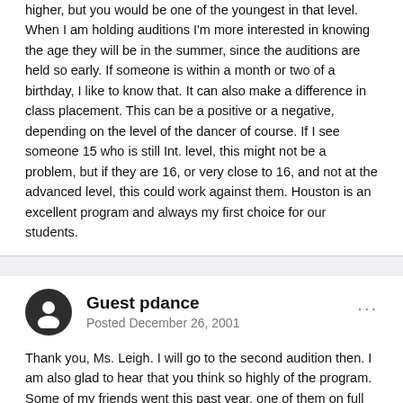higher, but you would be one of the youngest in that level. When I am holding auditions I'm more interested in knowing the age they will be in the summer, since the auditions are held so early. If someone is within a month or two of a birthday, I like to know that. It can also make a difference in class placement. This can be a positive or a negative, depending on the level of the dancer of course. If I see someone 15 who is still Int. level, this might not be a problem, but if they are 16, or very close to 16, and not at the advanced level, this could work against them. Houston is an excellent program and always my first choice for our students.
Guest pdance
Posted December 26, 2001
Thank you, Ms. Leigh. I will go to the second audition then. I am also glad to hear that you think so highly of the program. Some of my friends went this past year, one of them on full scholarship who was asked to stay the year, and they both said that it was excellent. Thank you for your advice!